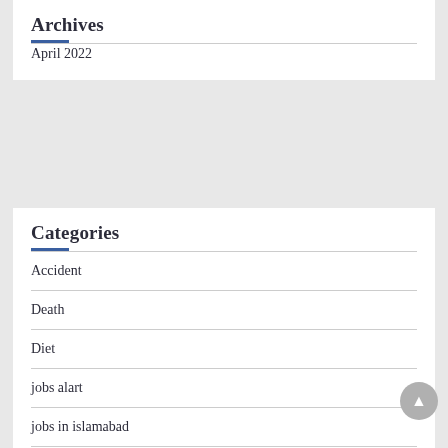Archives
April 2022
Categories
Accident
Death
Diet
jobs alart
jobs in islamabad
jobs in lahore
leak